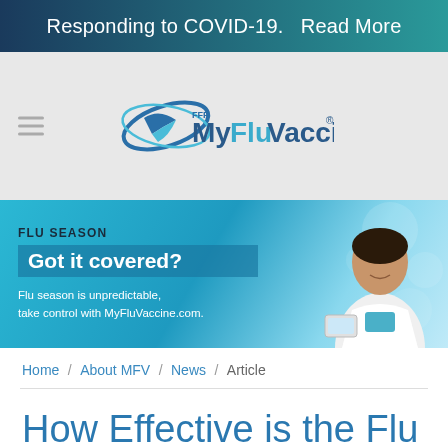Responding to COVID-19.  Read More
[Figure (logo): FFF MyFluVaccine logo with blue swoosh/orbit graphic and text 'FFF MyFluVaccine' with registered trademark symbol]
[Figure (infographic): Flu season banner with text 'FLU SEASON Got it covered?' and 'Flu season is unpredictable, take control with MyFluVaccine.com.' with image of smiling nurse/doctor on right side against blue bokeh background]
Home / About MFV / News / Article
How Effective is the Flu Vaccine?